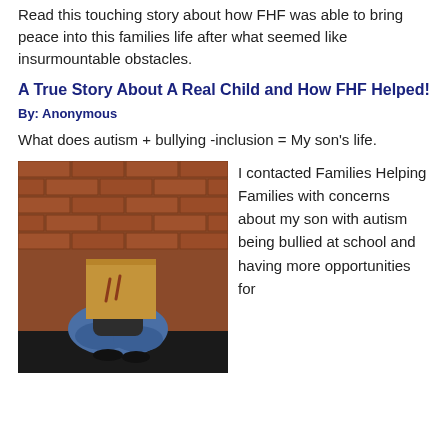Read this touching story about how FHF was able to bring peace into this families life after what seemed like insurmountable obstacles.
A True Story About A Real Child and How FHF Helped!
By: Anonymous
What does autism + bullying -inclusion = My son’s life.
[Figure (photo): Child sitting against a brick wall with a cardboard box over their head, knees drawn up, wearing jeans and a dark shirt]
I contacted Families Helping Families with concerns about my son with autism being bullied at school and having more opportunities for